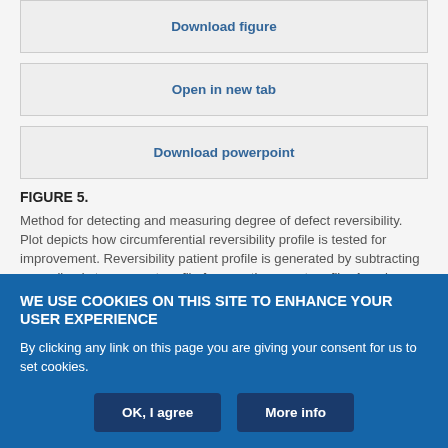Download figure
Open in new tab
Download powerpoint
FIGURE 5.
Method for detecting and measuring degree of defect reversibility. Plot depicts how circumferential reversibility profile is tested for improvement. Reversibility patient profile is generated by subtracting normalized stress count profile from resting count profile. Angular range that improves in relative perfusion from stress to rest is shown by increasing reversibility above zero. Mean normal reversibility profile hovers around zero since in healthy patients no relative perfusion change is expected between stress
WE USE COOKIES ON THIS SITE TO ENHANCE YOUR USER EXPERIENCE
By clicking any link on this page you are giving your consent for us to set cookies.
OK, I agree
More info